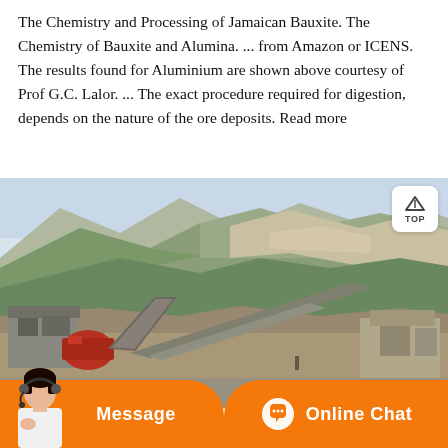The Chemistry and Processing of Jamaican Bauxite. The Chemistry of Bauxite and Alumina. ... from Amazon or ICENS. The results found for Aluminium are shown above courtesy of Prof G.C. Lalor. ... The exact procedure required for digestion, depends on the nature of the ore deposits. Read more
[Figure (photo): Photograph of an open-pit mining or bauxite processing facility with conveyor belts and industrial equipment in the foreground, steep hillsides with sparse vegetation in the background. A 'TOP' navigation button appears in the upper right of the image.]
[Figure (infographic): Orange bottom bar with two sections: left section shows a customer service representative avatar and 'Message' button; right section shows a chat icon and 'Online Chat' button.]